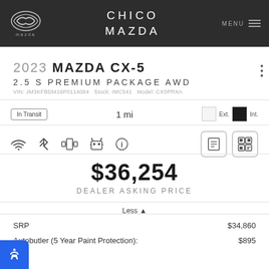CHICO MAZDA
2023 MAZDA CX-5 2.5 S PREMIUM PACKAGE AWD
VIN: JM3KFBDM16P0114084   Stock: IMC541   Model: CX5PRXA
In Transit   1 mi   Ext.   Int.
[Figure (infographic): Feature icons: WiFi, Bluetooth, AWD/4WD drivetrain, Android Auto, info. Action icons: document and QR code buttons.]
$36,254
DEALER ASKING PRICE
Less ▲
SRP   $34,860
Autobutler (5 Year Paint Protection):   $895